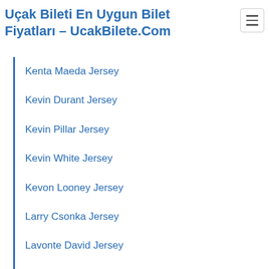Uçak Bileti En Uygun Bilet Fiyatları – UcakBilete.Com
Kenta Maeda Jersey
Kevin Durant Jersey
Kevin Pillar Jersey
Kevin White Jersey
Kevon Looney Jersey
Larry Csonka Jersey
Lavonte David Jersey
LeSean McCoy Jersey
Lorenzo Alexander Jersey